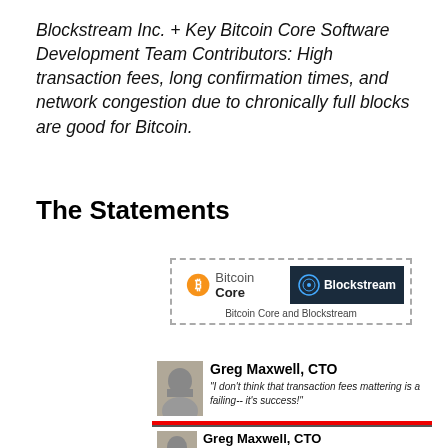Blockstream Inc. + Key Bitcoin Core Software Development Team Contributors: High transaction fees, long confirmation times, and network congestion due to chronically full blocks are good for Bitcoin.
The Statements
[Figure (infographic): Dashed border box containing Bitcoin Core logo and Blockstream logo side by side, with caption 'Bitcoin Core and Blockstream']
[Figure (screenshot): Screenshot on red background showing Greg Maxwell, CTO with quote: 'I don't think that transaction fees mattering is a failing-- it's success!' and a second card with quote about fee pressure being an intentional part of the system design.]